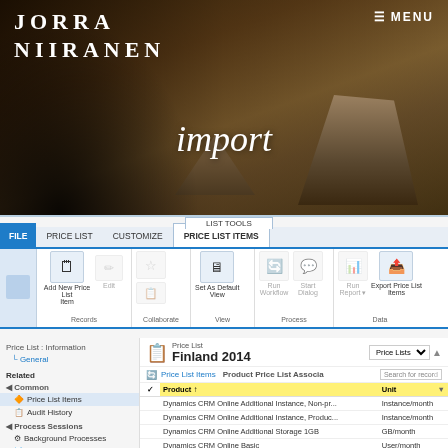JORRA NIIRANEN
≡ MENU
import
[Figure (screenshot): Microsoft Dynamics CRM ribbon interface showing LIST TOOLS with tabs FILE, PRICE LIST, CUSTOMIZE, PRICE LIST ITEMS (active). Ribbon buttons: Add New Price List Item, Edit, Set As Default View, Run Workflow, Start Dialog, Run Report, Export Price List Items. Groups: Records, Collaborate, View, Process, Data.]
Price List : Information
General
Price List
Finland 2014
Price List Items  Product Price List Associa
|  | Product ↑ | Unit |
| --- | --- | --- |
| ✓ | Dynamics CRM Online Additional Instance, Non-pr... | Instance/month |
|  | Dynamics CRM Online Additional Instance, Produc... | Instance/month |
|  | Dynamics CRM Online Additional Storage 1GB | GB/month |
|  | Dynamics CRM Online Basic | User/month |